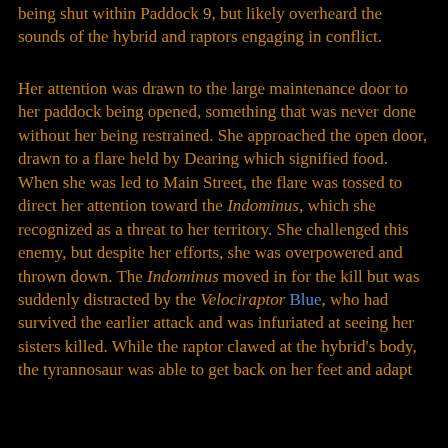being shut within Paddock 9, but likely overheard the sounds of the hybrid and raptors engaging in conflict.
Her attention was drawn to the large maintenance door to her paddock being opened, something that was never done without her being restrained. She approached the open door, drawn to a flare held by Dearing which signified food. When she was led to Main Street, the flare was tossed to direct her attention toward the Indominus, which she recognized as a threat to her territory. She challenged this enemy, but despite her efforts, she was overpowered and thrown down. The Indominus moved in for the kill but was suddenly distracted by the Velociraptor Blue, who had survived the earlier attack and was infuriated at seeing her sisters killed. While the raptor clawed at the hybrid's body, the tyrannosaur was able to get back on her feet and adapt her combat strategy from the Indominus, adapting to